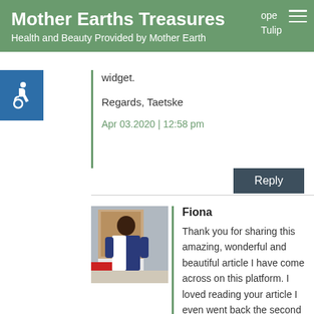Mother Earths Treasures
Health and Beauty Provided by Mother Earth
widget.
Regards, Taetske
Apr 03.2020 | 12:58 pm
Reply
Fiona
Thank you for sharing this amazing, wonderful and beautiful article I have come across on this platform. I loved reading your article I even went back the second time just to check out the pictures this is amazing.
Hi, is South Africa and I ...